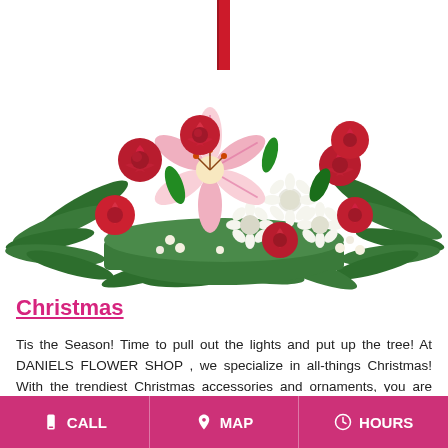[Figure (photo): A Christmas flower arrangement with red roses, white daisies, pink lilies, and green ferns in a basket hanging from a red ribbon.]
Christmas
Tis the Season! Time to pull out the lights and put up the tree! At DANIELS FLOWER SHOP , we specialize in all-things Christmas! With the trendiest Christmas accessories and ornaments, you are sure to find exactly what you need for your holiday decor at DANIELS FLOWER SHOP in Windsor.
NOTE: Due to customer demand, many of
CALL   MAP   HOURS